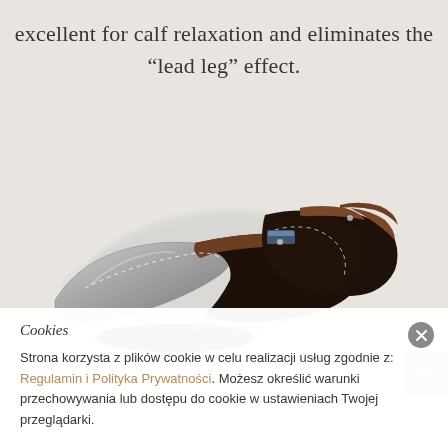excellent for calf relaxation and eliminates the "lead leg" effect.
[Figure (photo): A luxury massage chair shown in reclining/reclined position with motion blur effect suggesting movement. The chair has dark brown/chocolate leather on the seat and back rest, with a silver/grey leg rest section. Multiple ghosted images suggest the chair's range of motion.]
Cookies
Strona korzysta z plików cookie w celu realizacji usług zgodnie z: Regulamin i Polityka Prywatności. Możesz określić warunki przechowywania lub dostępu do cookie w ustawieniach Twojej przeglądarki.